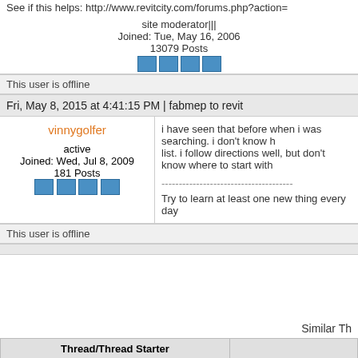See if this helps: http://www.revitcity.com/forums.php?action=...
site moderator|||
Joined: Tue, May 16, 2006
13079 Posts
This user is offline
Fri, May 8, 2015 at 4:41:15 PM | fabmep to revit
vinnygolfer
active
Joined: Wed, Jul 8, 2009
181 Posts
i have seen that before when i was searching. i don't know how to get the list. i follow directions well, but don't know where to start with...
Try to learn at least one new thing every day
This user is offline
Similar Th...
| Thread/Thread Starter |  |
| --- | --- |
| Autocad FABmep 2013 Network License | Workflow & Im... Apps |
| Specialist Fabrication company - deciding whether or not to adopt Revit?! | Revit Systems |
| Revit for Construction Documents [ 1 2 ] | Revit Building |
| 4D simulation in Revit? [ 1 2 ] | Workflow & Im... Apps |
| I need to open a Revit 2011 file into the Revit 2009.2 Are there any... |  |